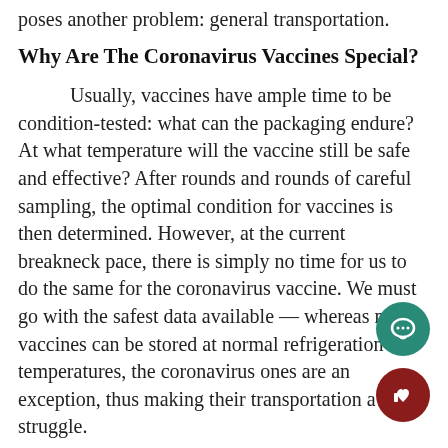poses another problem: general transportation.
Why Are The Coronavirus Vaccines Special?
Usually, vaccines have ample time to be condition-tested: what can the packaging endure? At what temperature will the vaccine still be safe and effective? After rounds and rounds of careful sampling, the optimal condition for vaccines is then determined. However, at the current breakneck pace, there is simply no time for us to do the same for the coronavirus vaccine. We must go with the safest data available — whereas most vaccines can be stored at normal refrigeration temperatures, the coronavirus ones are an exception, thus making their transportation a struggle.
Currently, one of the leading vaccine candidates, Pfizer's BNT162b2, must be stored and